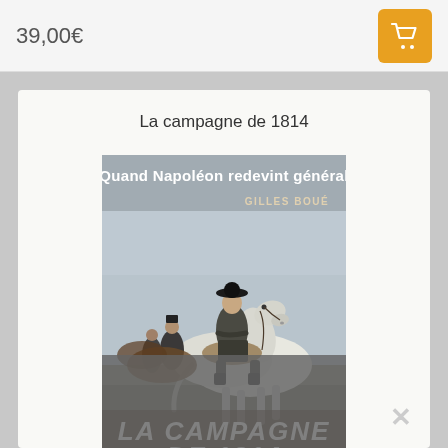39,00€
[Figure (illustration): Book cover of 'La campagne de 1814' by Gilles Boué, showing Napoleon on a white horse with soldiers behind him in a wintry landscape. Text on cover: 'Quand Napoléon redevint général' and 'GILLES BOUÉ'. Lower portion of cover shows 'LA CAMPAGNE DE 1814' text.]
La campagne de 1814